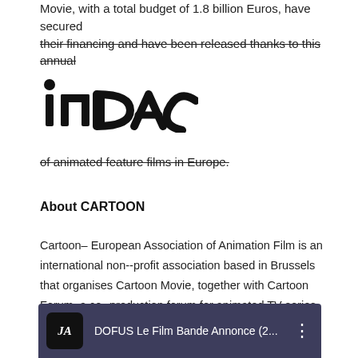Movie, with a total budget of 1.8 billion Euros, have secured their financing and have been released thanks to this annual
[Figure (logo): INDAC logo in black text with stylized dotted i]
of animated feature films in Europe.
About CARTOON
Cartoon– European Association of Animation Film is an international non--profit association based in Brussels that organises Cartoon Movie, together with Cartoon Forum, a co--production forum for animated TV series, Cartoon Master training seminars and Cartoon Connection, a programme intended to explore ways of reinforcing cooperation between EU and non--EU animation professionals. Cartoon Movie Director: Annick Maes
[Figure (screenshot): Video thumbnail for DOFUS Le Film Bande Annonce (2... with JA icon and three-dot menu]